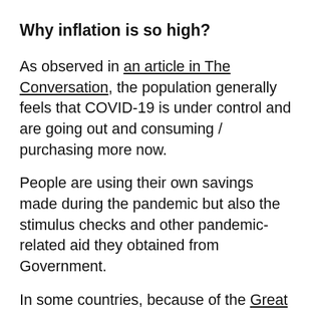Why inflation is so high?
As observed in an article in The Conversation, the population generally feels that COVID-19 is under control and are going out and consuming / purchasing more now.
People are using their own savings made during the pandemic but also the stimulus checks and other pandemic-related aid they obtained from Government.
In some countries, because of the Great Resignation currently happening, companies have had to increase salaries to retain their departing staff. This contributes to an increasing inflation. I don't think that salaries are increasing in Mauritius